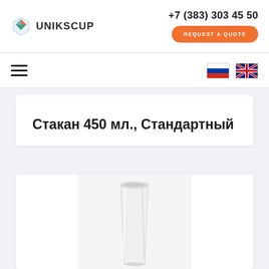UNIKSCUP — +7 (383) 303 45 50 — REQUEST A QUOTE
Стакан 450 мл., Стандартный
[Figure (photo): White paper cup 450ml standard, tall disposable cup on light background]